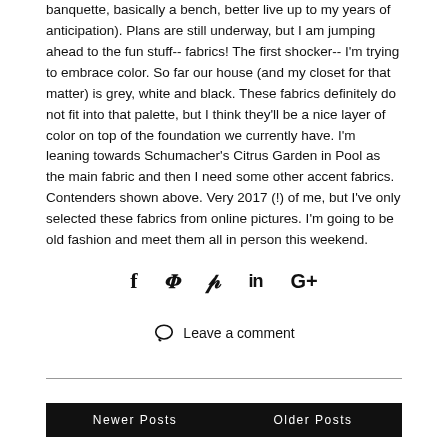banquette, basically a bench, better live up to my years of anticipation). Plans are still underway, but I am jumping ahead to the fun stuff-- fabrics! The first shocker-- I'm trying to embrace color. So far our house (and my closet for that matter) is grey, white and black. These fabrics definitely do not fit into that palette, but I think they'll be a nice layer of color on top of the foundation we currently have. I'm leaning towards Schumacher's Citrus Garden in Pool as the main fabric and then I need some other accent fabrics. Contenders shown above. Very 2017 (!) of me, but I've only selected these fabrics from online pictures. I'm going to be old fashion and meet them all in person this weekend.
[Figure (infographic): Social sharing icons: Facebook (f), Twitter (bird), Pinterest (p), LinkedIn (in), Google+ (G+)]
Leave a comment
Newer Posts | Older Posts